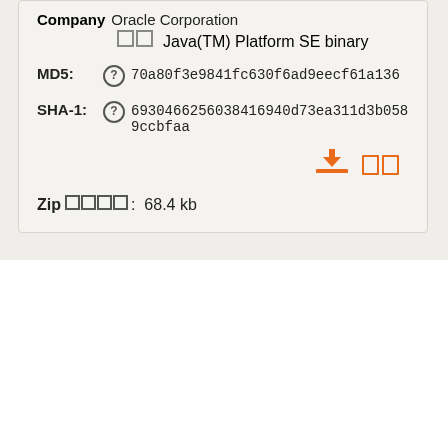Company  Oracle Corporation
□□  Java(TM) Platform SE binary
MD5:  70a80f3e9841fc630f6ad9eecf61a136
SHA-1:  6930466256038416940d73ea311d3b0589ccbfaa
[Figure (other): Download and view icons in orange]
Zip □□□□:  68.4 kb